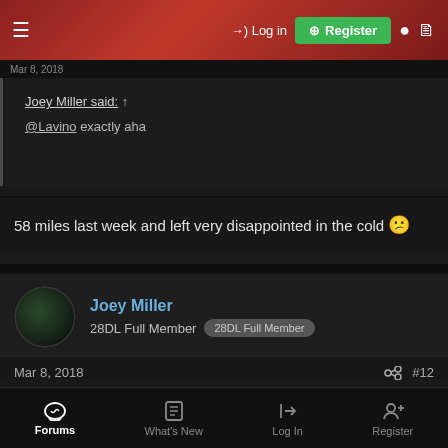Log in | Register
Joey Miller said: ↑
@Lavino exactly aha
58 miles last week and left very disappointed in the cold 🙁
Joey Miller
28DL Full Member | 28DL Full Member
Mar 8, 2018  #12
😱
Last edited: Mar 8, 2018
Forums | What's New | Log In | Register